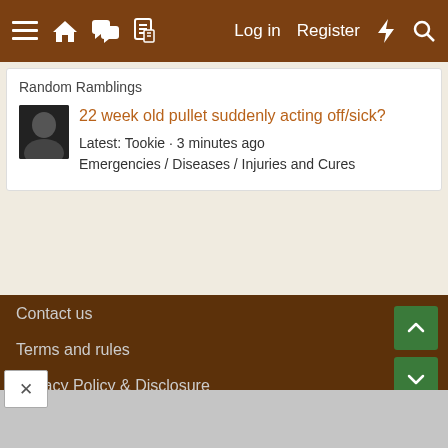≡  🏠  💬  📄    Log in   Register   ⚡   🔍
Random Ramblings
22 week old pullet suddenly acting off/sick?
Latest: Tookie · 3 minutes ago
Emergencies / Diseases / Injuries and Cures
Contact us
Terms and rules
Privacy Policy & Disclosure
Help